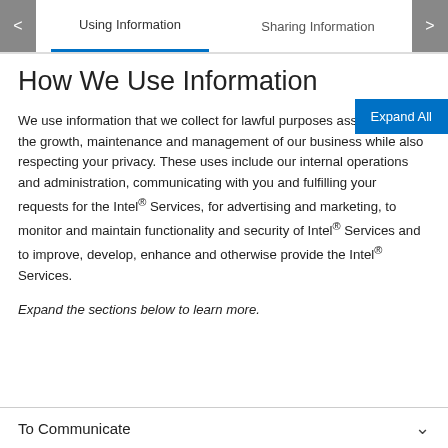Using Information | Sharing Information
How We Use Information
We use information that we collect for lawful purposes associated with the growth, maintenance and management of our business while also respecting your privacy. These uses include our internal operations and administration, communicating with you and fulfilling your requests for the Intel® Services, for advertising and marketing, to monitor and maintain functionality and security of Intel® Services and to improve, develop, enhance and otherwise provide the Intel® Services.
Expand the sections below to learn more.
To Communicate